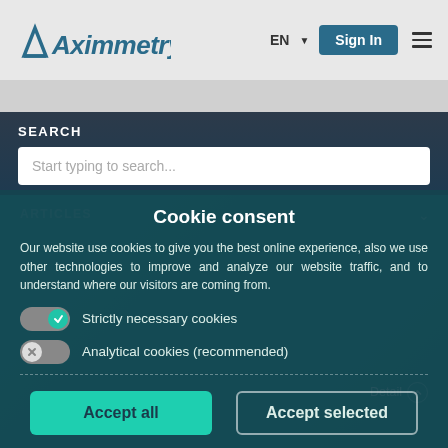[Figure (logo): Aximmetry logo with blue triangle and italic serif text]
EN ▼
Sign In
SEARCH
Start typing to search...
ARTICLES
Cookie consent
Our website use cookies to give you the best online experience, also we use other technologies to improve and analyze our website traffic, and to understand where our visitors are coming from.
Strictly necessary cookies
Analytical cookies (recommended)
Detail
Accept all
Accept selected